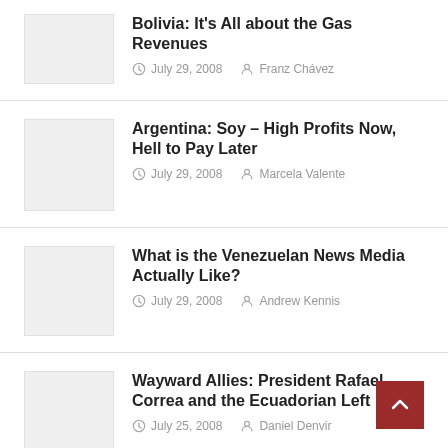[Figure (photo): Thumbnail placeholder for Bolivia article]
Bolivia: It’s All about the Gas Revenues
July 29, 2008   Franz Chávez
[Figure (photo): Thumbnail placeholder for Argentina article]
Argentina: Soy – High Profits Now, Hell to Pay Later
July 29, 2008   Marcela Valente
[Figure (photo): Thumbnail placeholder for Venezuela article]
What is the Venezuelan News Media Actually Like?
July 29, 2008   Andrew Kennis
[Figure (photo): Thumbnail placeholder for Wayward Allies article]
Wayward Allies: President Rafael Correa and the Ecuadorian Left
July 25, 2008   Daniel Denvir